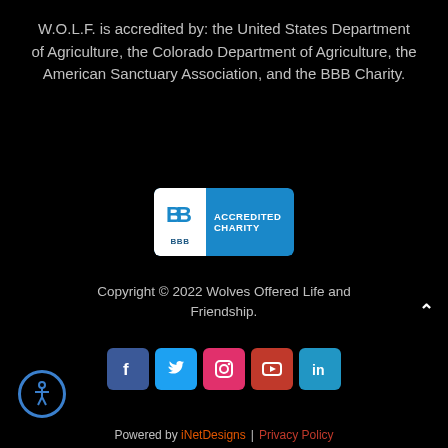W.O.L.F. is accredited by: the United States Department of Agriculture, the Colorado Department of Agriculture, the American Sanctuary Association, and the BBB Charity.
[Figure (logo): BBB Accredited Charity badge — blue rectangle with white BBB logo on the left and 'ACCREDITED CHARITY' text in white on the right]
Copyright © 2022 Wolves Offered Life and Friendship.
[Figure (infographic): Row of 5 social media icon buttons: Facebook (dark blue, f), Twitter (light blue, bird), Instagram (pink, camera), YouTube (red, play button), LinkedIn (blue, in)]
[Figure (infographic): Accessibility icon button — circular with person/wheelchair symbol outline]
Powered by iNetDesigns | Privacy Policy